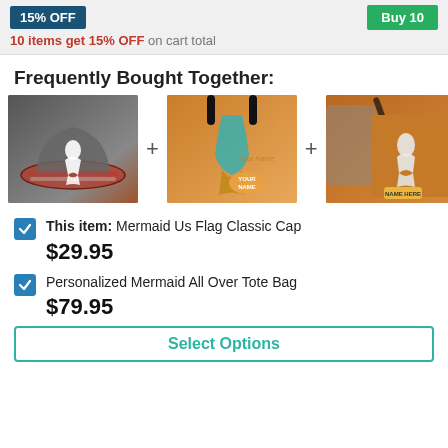15% OFF
Buy 10
10 items get 15% OFF on cart total
Frequently Bought Together:
[Figure (photo): Three product images: a Mermaid US Flag Classic Cap, two Personalized Mermaid All Over Tote Bags, separated by plus signs]
This item: Mermaid Us Flag Classic Cap $29.95
Personalized Mermaid All Over Tote Bag $79.95
Select Options